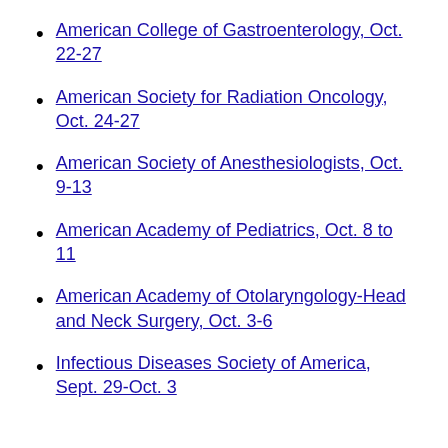American College of Gastroenterology, Oct. 22-27
American Society for Radiation Oncology, Oct. 24-27
American Society of Anesthesiologists, Oct. 9-13
American Academy of Pediatrics, Oct. 8 to 11
American Academy of Otolaryngology-Head and Neck Surgery, Oct. 3-6
Infectious Diseases Society of America, Sept. 29-Oct. 3